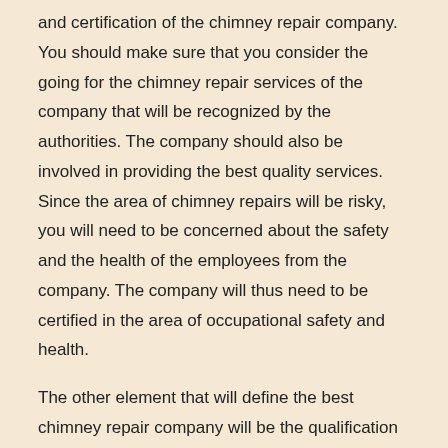and certification of the chimney repair company. You should make sure that you consider the going for the chimney repair services of the company that will be recognized by the authorities. The company should also be involved in providing the best quality services. Since the area of chimney repairs will be risky, you will need to be concerned about the safety and the health of the employees from the company. The company will thus need to be certified in the area of occupational safety and health.
The other element that will define the best chimney repair company will be the qualification of the personnel. It is necessary to ensure that the company will have personnel who have undertaken the best training in this area. They need to know how to handle both residential and commercial chimneys. The best-qualified staffs will